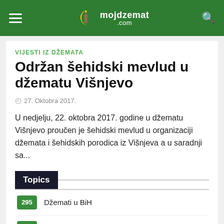mojdzemat.com
VIJESTI IZ DŽEMATA
Održan šehidski mevlud u džematu Višnjevo
27. Oktobra 2017.
U nedjelju, 22. oktobra 2017. godine u džematu Višnjevo proučen je šehidski mevlud u organizaciji džemata i šehidskih porodica iz Višnjeva a u saradnji sa...
Topics
295 Džemati u BiH
17 Džemati u svijetu
13 Foto